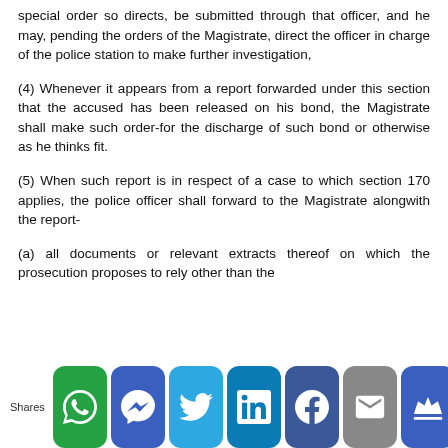special order so directs, be submitted through that officer, and he may, pending the orders of the Magistrate, direct the officer in charge of the police station to make further investigation,
(4) Whenever it appears from a report forwarded under this section that the accused has been released on his bond, the Magistrate shall make such order-for the discharge of such bond or otherwise as he thinks fit.
(5) When such report is in respect of a case to which section 170 applies, the police officer shall forward to the Magistrate alongwith the report-
(a) all documents or relevant extracts thereof on which the prosecution proposes to rely other than those already sent to the Magistrate during investigation;
[Figure (other): Social media sharing bar with icons for WhatsApp, Messenger, Twitter, LinkedIn, Facebook, Email, and Crown/King app. Shows 'Shares' label on the left.]